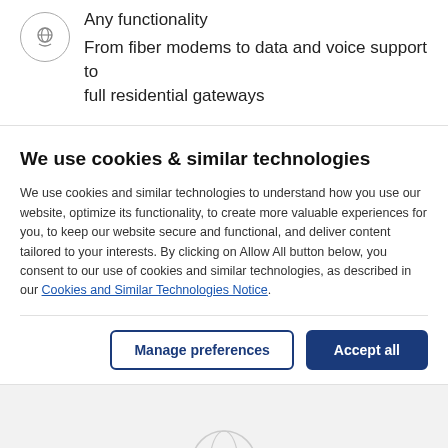Any functionality
From fiber modems to data and voice support to full residential gateways
We use cookies & similar technologies
We use cookies and similar technologies to understand how you use our website, optimize its functionality, to create more valuable experiences for you, to keep our website secure and functional, and deliver content tailored to your interests. By clicking on Allow All button below, you consent to our use of cookies and similar technologies, as described in our Cookies and Similar Technologies Notice.
Manage preferences
Accept all